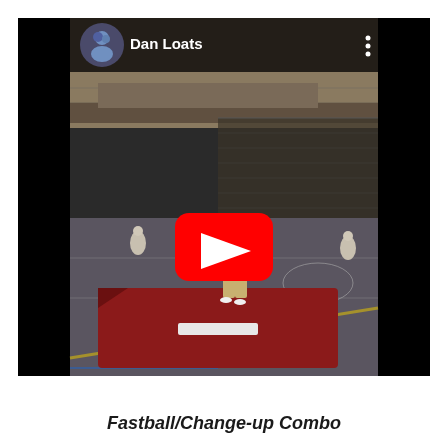[Figure (screenshot): YouTube video thumbnail showing a baseball/softball pitching scene inside an indoor gymnasium. A pitcher is on a mound (red mat) throwing to a batter. The video is posted by 'Dan Loats' with a circular avatar showing a person. A red YouTube play button is overlaid in the center. Black sidebars flank the video thumbnail.]
Fastball/Change-up Combo